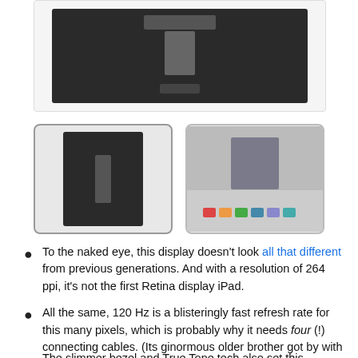[Figure (photo): Close-up photo of iPad display back panel showing connector strip and hardware components on dark background, in a rounded-rectangle border box]
[Figure (photo): Thumbnail 1: iPad display back panel with center connector strip, selected state with border]
[Figure (photo): Thumbnail 2: Close-up of circuit board area with colored chips/connectors on the display assembly]
To the naked eye, this display doesn't look all that different from previous generations. And with a resolution of 264 ppi, it's not the first Retina display iPad.
All the same, 120 Hz is a blisteringly fast refresh rate for this many pixels, which is probably why it needs four (!) connecting cables. (Its ginormous older brother got by with just two.)
The slimmer bezel and True Tone tech also set this